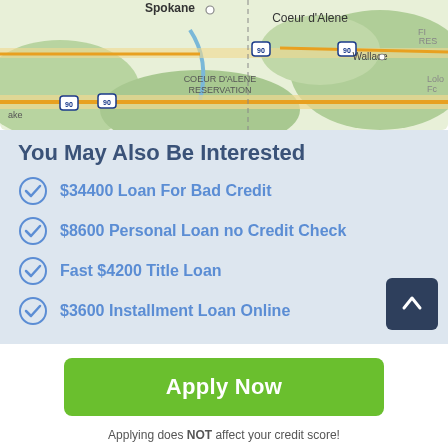[Figure (map): A road map showing Spokane, Coeur d'Alene, Wallace, Coeur d'Alene Reservation, and surrounding areas with highway 90 marked.]
You May Also Be Interested
$34400 Loan For Bad Credit
$8600 Personal Loan no Credit Check
Fast $4200 Title Loan
$3600 Installment Loan Online
Apply Now
Applying does NOT affect your credit score! No credit check to apply.